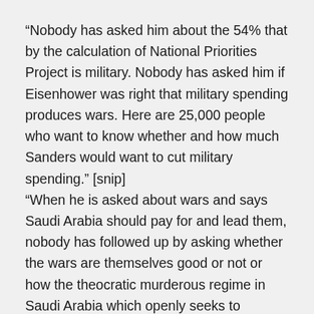“Nobody has asked him about the 54% that by the calculation of National Priorities Project is military. Nobody has asked him if Eisenhower was right that military spending produces wars. Here are 25,000 people who want to know whether and how much Sanders would want to cut military spending.” [snip]
“When he is asked about wars and says Saudi Arabia should pay for and lead them, nobody has followed up by asking whether the wars are themselves good or not or how the theocratic murderous regime in Saudi Arabia which openly seeks to overthrow other governments and is dropping US cluster bombs on Yemen will